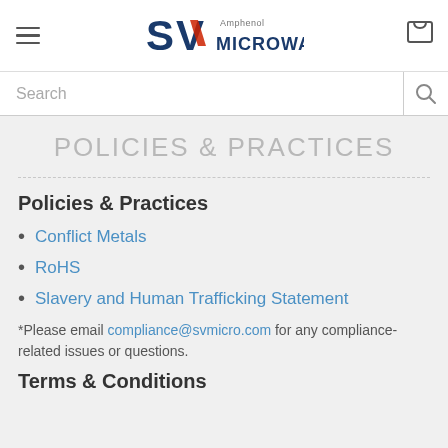SV Microwave (Amphenol) — navigation header with logo, hamburger menu, and cart icon
Search
POLICIES & PRACTICES
Policies & Practices
Conflict Metals
RoHS
Slavery and Human Trafficking Statement
*Please email compliance@svmicro.com for any compliance-related issues or questions.
Terms & Conditions